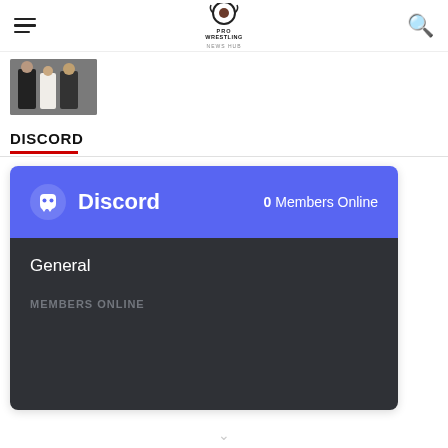Pro Wrestling News Hub
[Figure (photo): Thumbnail image strip showing a partial photo of people in formal attire]
DISCORD
[Figure (screenshot): Discord widget showing 0 Members Online, General channel section, and MEMBERS ONLINE label on dark background]